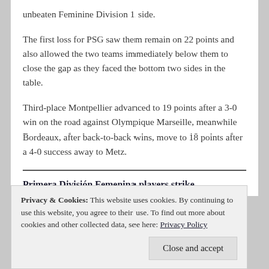unbeaten Feminine Division 1 side.
The first loss for PSG saw them remain on 22 points and also allowed the two teams immediately below them to close the gap as they faced the bottom two sides in the table.
Third-place Montpellier advanced to 19 points after a 3-0 win on the road against Olympique Marseille, meanwhile Bordeaux, after back-to-back wins, move to 18 points after a 4-0 success away to Metz.
Primera División Femenina players strike
Privacy & Cookies: This website uses cookies. By continuing to use this website, you agree to their use. To find out more about cookies and other collected data, see here: Privacy Policy
Close and accept